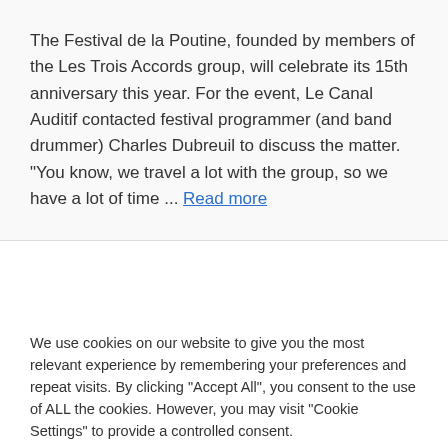The Festival de la Poutine, founded by members of the Les Trois Accords group, will celebrate its 15th anniversary this year. For the event, Le Canal Auditif contacted festival programmer (and band drummer) Charles Dubreuil to discuss the matter. “You know, we travel a lot with the group, so we have a lot of time ... Read more
We use cookies on our website to give you the most relevant experience by remembering your preferences and repeat visits. By clicking “Accept All”, you consent to the use of ALL the cookies. However, you may visit "Cookie Settings" to provide a controlled consent.